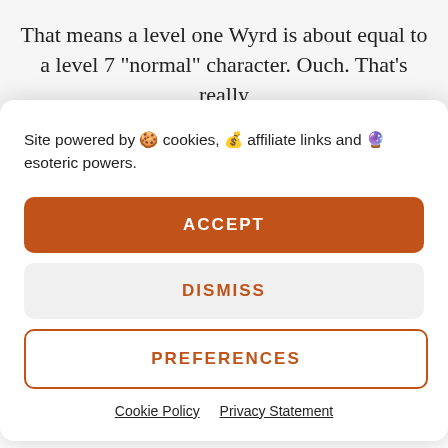That means a level one Wyrd is about equal to a level 7 "normal" character. Ouch. That's really
Site powered by 🍪 cookies, 💰 affiliate links and 🔮 esoteric powers.
ACCEPT
DISMISS
PREFERENCES
Cookie Policy   Privacy Statement
tables at the back of the book along with other charts. The most important thing, in my mind, in the Specific Half-Breed chapter is that, again
[Figure (screenshot): Social sharing bar with Facebook (blue circle), Twitter (cyan circle), Pinterest (red circle) icons, and left/right navigation arrows in red]